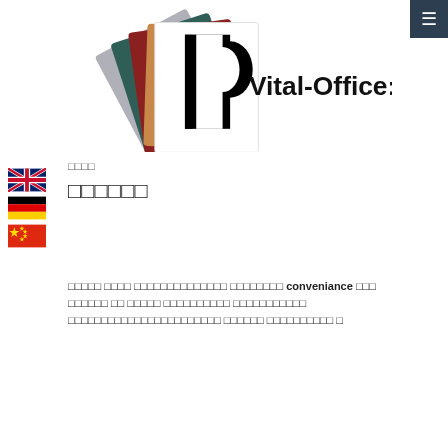[Figure (logo): Vital-Office logo with colorful folder/paper fan and bold 'Vital-Office:' text on black-and-white background]
□□□□
□□□□□□
□□□□□ □□□□ □□□□□□□□□□□□□□ □□□□□□□□ conveniance □□□ □□□□□□ □□ □□□□□ □□□□□□□□□□ □□□□□□□□□□□ □□□□□□□□□□□□□□□□□□□□□□□ □□□□□□ □□□□□□□□□□ □